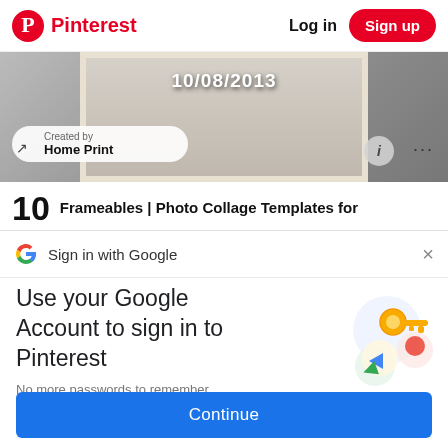Pinterest  Log in  Sign up
[Figure (screenshot): Partial view of a photo collage template showing a photo with date 10/08/2013 and a 'Created by Home Print' pill overlay with info and more buttons]
10  Frameables | Photo Collage Templates for
Sign in with Google  ×
Use your Google Account to sign in to Pinterest
No more passwords to remember. Signing in is fast, simple and secure.
[Figure (illustration): Google key illustration with colored circles and a golden key]
Continue